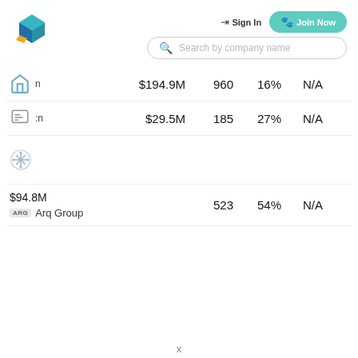[Figure (logo): Company logo with blue and teal geometric shape and orange accent]
Sign In
Join Now
Search by company name
| Company | Revenue | Employees | Growth | Rating |
| --- | --- | --- | --- | --- |
| [icon] n | $194.9M | 960 | 16% | N/A |
| [icon] :n | $29.5M | 185 | 27% | N/A |
| [icon] |  |  |  |  |
| Arq Group | $94.8M | 523 | 54% | N/A |
x